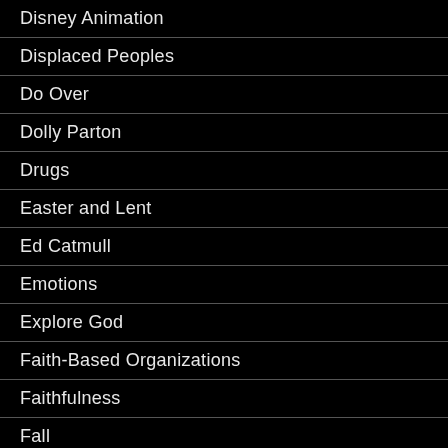Disney Animation
Displaced Peoples
Do Over
Dolly Parton
Drugs
Easter and Lent
Ed Catmull
Emotions
Explore God
Faith-Based Organizations
Faithfulness
Fall
Family